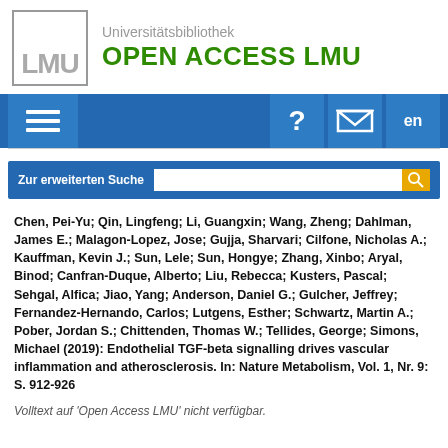[Figure (logo): LMU Universitätsbibliothek Open Access LMU logo with grey LMU letters in a box on the left and green OPEN ACCESS LMU text on the right]
[Figure (screenshot): Navigation bar with hamburger menu icon on left and question mark, envelope, and 'en' language buttons on right, all on blue background]
[Figure (screenshot): Blue search bar with label 'Zur erweiterten Suche', white input field, and orange search button]
Chen, Pei-Yu; Qin, Lingfeng; Li, Guangxin; Wang, Zheng; Dahlman, James E.; Malagon-Lopez, Jose; Gujja, Sharvari; Cilfone, Nicholas A.; Kauffman, Kevin J.; Sun, Lele; Sun, Hongye; Zhang, Xinbo; Aryal, Binod; Canfran-Duque, Alberto; Liu, Rebecca; Kusters, Pascal; Sehgal, Alfica; Jiao, Yang; Anderson, Daniel G.; Gulcher, Jeffrey; Fernandez-Hernando, Carlos; Lutgens, Esther; Schwartz, Martin A.; Pober, Jordan S.; Chittenden, Thomas W.; Tellides, George; Simons, Michael (2019): Endothelial TGF-beta signalling drives vascular inflammation and atherosclerosis. In: Nature Metabolism, Vol. 1, Nr. 9: S. 912-926
Volltext auf 'Open Access LMU' nicht verfügbar.